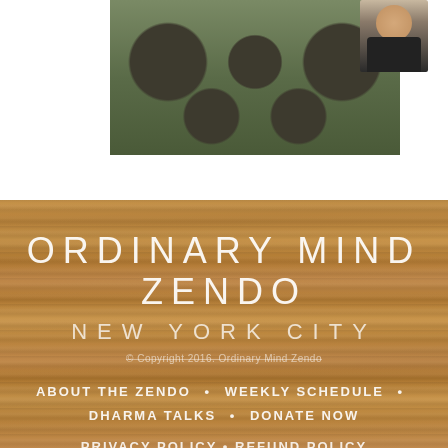[Figure (photo): Buddha statue figures repeated in a banner pattern, with a small portrait thumbnail of a person in a dark suit in the upper right corner]
ORDINARY MIND ZENDO
NEW YORK CITY
© Copyright 2016. Ordinary Mind Zendo
ABOUT THE ZENDO • WEEKLY SCHEDULE • DHARMA TALKS • DONATE NOW
PRIVACY POLICY • REFUND POLICY